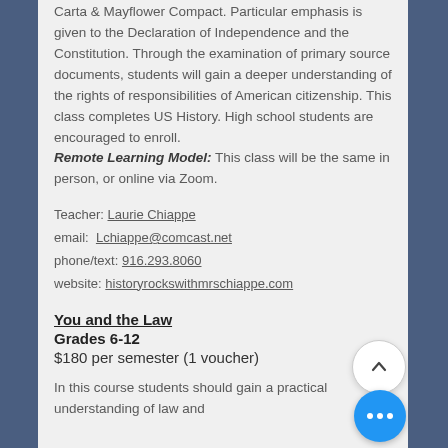Carta & Mayflower Compact. Particular emphasis is given to the Declaration of Independence and the Constitution. Through the examination of primary source documents, students will gain a deeper understanding of the rights of responsibilities of American citizenship. This class completes US History. High school students are encouraged to enroll.
Remote Learning Model: This class will be the same in person, or online via Zoom.
Teacher: Laurie Chiappe
email: Lchiappe@comcast.net
phone/text: 916.293.8060
website: historyrockswithmrschiappe.com
You and the Law
Grades 6-12
$180 per semester (1 voucher)
In this course students should gain a practical understanding of law and